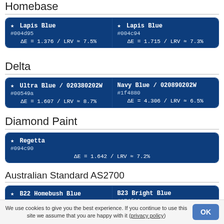Homebase
| Lapis Blue #004d95 | Lapis Blue #004c94 |
| --- | --- |
| ΔE = 1.376 / LRV ≈ 7.5% | ΔE = 1.715 / LRV ≈ 7.3% |
Delta
| Ultra Blue / 020380202W #00549a | Navy Blue / 020890202W #1f4880 |
| --- | --- |
| ΔE = 1.607 / LRV ≈ 8.7% | ΔE = 4.306 / LRV ≈ 6.5% |
Diamond Paint
| Regetta #094c90 |
| --- |
| ΔE = 1.642 / LRV ≈ 7.2% |
Australian Standard AS2700
| B22 Homebush Blue #215096 | B23 Bright Blue #174f89 |
| --- | --- |
|  |
We use cookies to give you the best experience. If you continue to use this site we assume that you are happy with it (privacy policy)